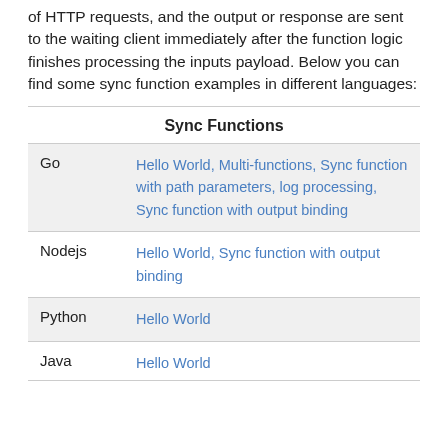of HTTP requests, and the output or response are sent to the waiting client immediately after the function logic finishes processing the inputs payload. Below you can find some sync function examples in different languages:
|  | Sync Functions |
| --- | --- |
| Go | Hello World, Multi-functions, Sync function with path parameters, log processing, Sync function with output binding |
| Nodejs | Hello World, Sync function with output binding |
| Python | Hello World |
| Java | Hello World |